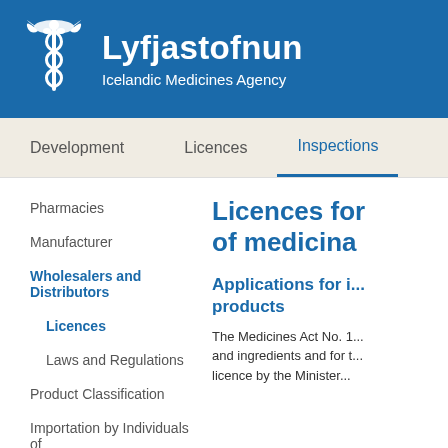Lyfjastofnun — Icelandic Medicines Agency
Development | Licences | Inspections
Pharmacies
Manufacturer
Wholesalers and Distributors
Licences
Laws and Regulations
Product Classification
Importation by Individuals of
Licences for ... of medicinal...
Applications for i... products
The Medicines Act No. 1... and ingredients and for t... licence by the Minister...